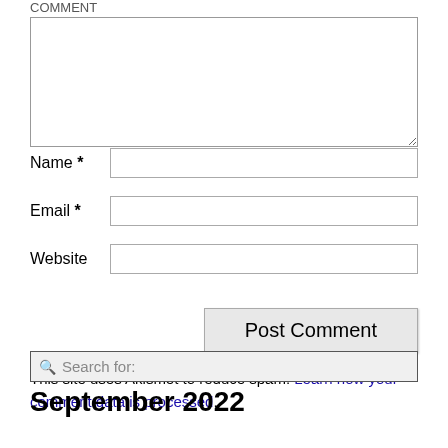COMMENT
[Figure (screenshot): Comment textarea input box]
Name *
[Figure (screenshot): Name text input field]
Email *
[Figure (screenshot): Email text input field]
Website
[Figure (screenshot): Website text input field]
[Figure (screenshot): Post Comment button]
This site uses Akismet to reduce spam. Learn how your comment data is processed.
[Figure (screenshot): Search for: input box]
September 2022